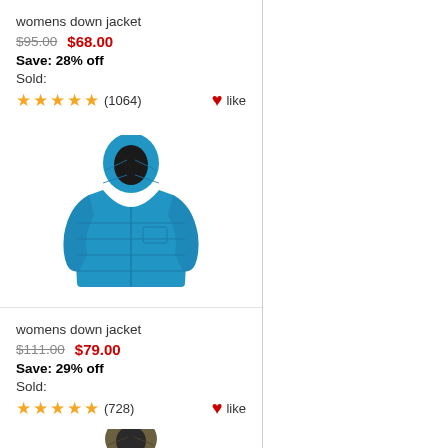womens down jacket
$95.00  $68.00
Save: 28% off
Sold:
★★★★★ (1064)  ♥like
[Figure (photo): Blue womens down jacket with hood]
womens down jacket
$111.00  $79.00
Save: 29% off
Sold:
★★★★★ (728)  ♥like
[Figure (photo): Olive/brown womens down jacket with hood (partially visible)]